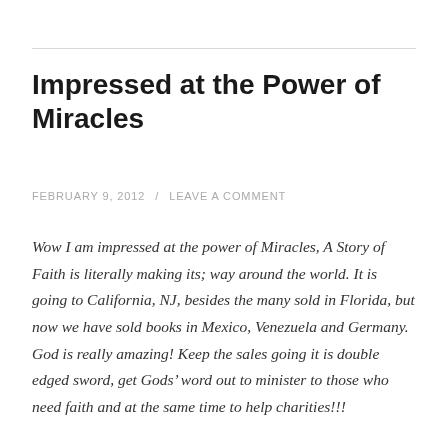Impressed at the Power of Miracles
FEBRUARY 9, 2012  /  LEAVE A COMMENT
Wow I am impressed at the power of Miracles, A Story of Faith is literally making its; way around the world. It is going to California, NJ, besides the many sold in Florida, but now we have sold books in Mexico, Venezuela and Germany. God is really amazing! Keep the sales going it is double edged sword, get Gods’ word out to minister to those who need faith and at the same time to help charities!!!